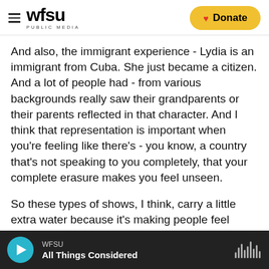WFSU PUBLIC MEDIA | Donate
And also, the immigrant experience - Lydia is an immigrant from Cuba. She just became a citizen. And a lot of people had - from various backgrounds really saw their grandparents or their parents reflected in that character. And I think that representation is important when you're feeling like there's - you know, a country that's not speaking to you completely, that your complete erasure makes you feel unseen.
So these types of shows, I think, carry a little extra water because it's making people feel seen. And certainly, the return of the show makes the Internet
WFSU | All Things Considered